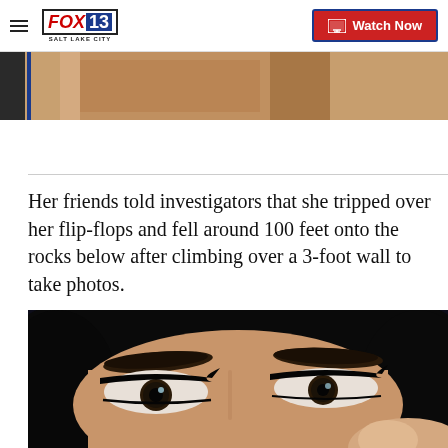FOX 13 SALT LAKE CITY — Watch Now
[Figure (photo): Partial image strip at top of article, cropped photo visible above main content]
Her friends told investigators that she tripped over her flip-flops and fell around 100 feet onto the rocks below after climbing over a 3-foot wall to take photos.
[Figure (photo): Close-up photo of a young woman's eyes with heavy eyeliner/winged makeup, dark hair visible]